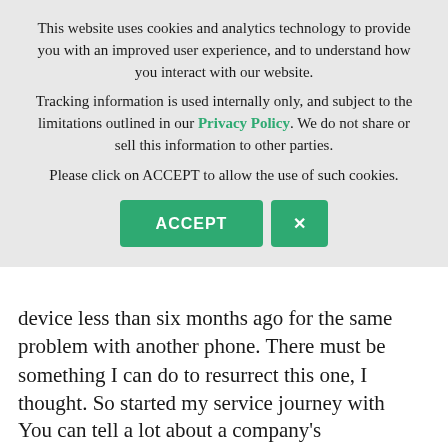This website uses cookies and analytics technology to provide you with an improved user experience, and to understand how you interact with our website.
Tracking information is used internally only, and subject to the limitations outlined in our Privacy Policy. We do not share or sell this information to other parties.
Please click on ACCEPT to allow the use of such cookies.
ACCEPT  X
device less than six months ago for the same problem with another phone. There must be something I can do to resurrect this one, I thought. So started my service journey with Apple.
You can tell a lot about a company's